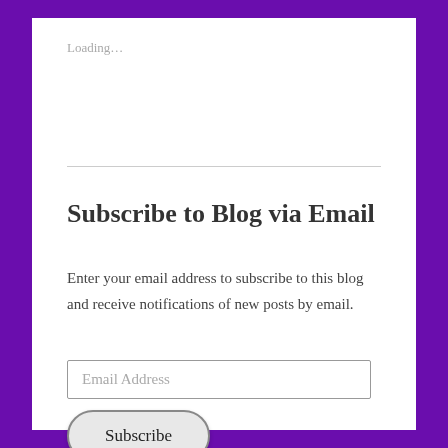Loading…
Subscribe to Blog via Email
Enter your email address to subscribe to this blog and receive notifications of new posts by email.
Email Address
Subscribe